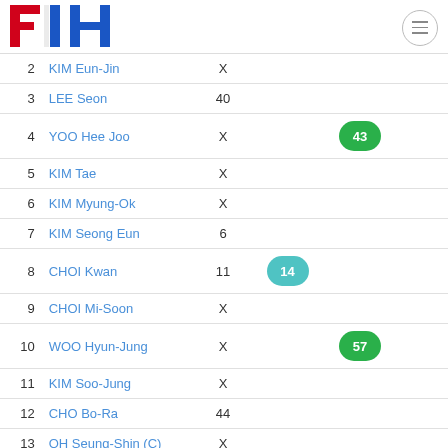[Figure (logo): FIH (International Hockey Federation) logo with red F, blue I, and blue H letters]
| # | Name | Col3 | Col4 | Col5 | Col6 |
| --- | --- | --- | --- | --- | --- |
| 2 | KIM Eun-Jin | X |  |  |  |
| 3 | LEE Seon | 40 |  |  |  |
| 4 | YOO Hee Joo | X |  | 43 |  |
| 5 | KIM Tae | X |  |  |  |
| 6 | KIM Myung-Ok | X |  |  |  |
| 7 | KIM Seong Eun | 6 |  |  |  |
| 8 | CHOI Kwan | 11 | 14 |  |  |
| 9 | CHOI Mi-Soon | X |  |  |  |
| 10 | WOO Hyun-Jung | X |  | 57 |  |
| 11 | KIM Soo-Jung | X |  |  |  |
| 12 | CHO Bo-Ra | 44 |  |  |  |
| 13 | OH Seung-Shin (C) | X |  |  |  |
| 14 | PARK Eun Kyung | X |  |  |  |